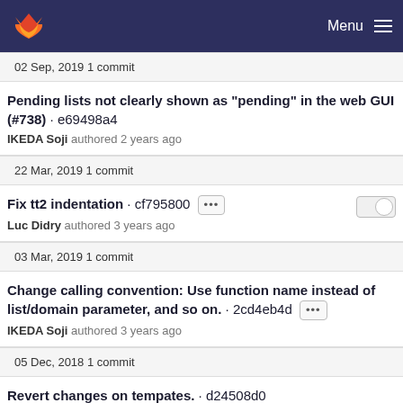Menu
02 Sep, 2019 1 commit
Pending lists not clearly shown as "pending" in the web GUI (#738) · e69498a4
IKEDA Soji authored 2 years ago
22 Mar, 2019 1 commit
Fix tt2 indentation · cf795800
Luc Didry authored 3 years ago
03 Mar, 2019 1 commit
Change calling convention: Use function name instead of list/domain parameter, and so on. · 2cd4eb4d
IKEDA Soji authored 3 years ago
05 Dec, 2018 1 commit
Revert changes on tempates. · d24508d0
IKEDA Soji authored 3 years ago